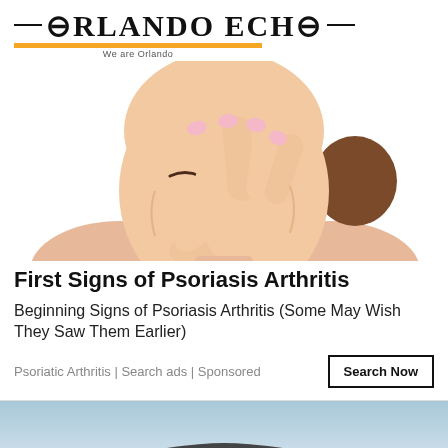ORLANDO ECHO — We are Orlando
[Figure (illustration): Illustration of a woman with closed eyes pressing her hand against her face, showing pink nails and a worried expression, styled as vector art.]
First Signs of Psoriasis Arthritis
Beginning Signs of Psoriasis Arthritis (Some May Wish They Saw Them Earlier)
Psoriatic Arthritis | Search ads | Sponsored
[Figure (photo): Partial photo of a car, likely a promotional or advertisement image, with a blue-grey sky background.]